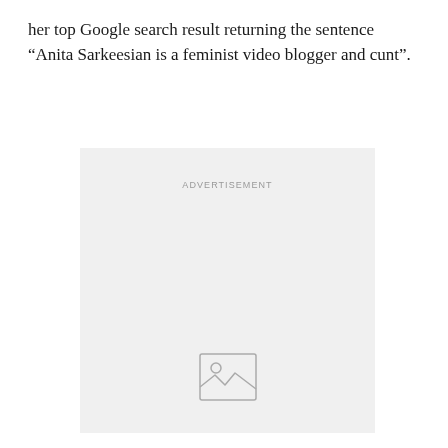her top Google search result returning the sentence “Anita Sarkeesian is a feminist video blogger and cunt”.
[Figure (other): Advertisement placeholder box with 'ADVERTISEMENT' label and an image placeholder icon at the bottom center]